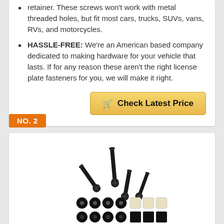retainer. These screws won't work with metal threaded holes, but fit most cars, trucks, SUVs, vans, RVs, and motorcycles.
HASSLE-FREE: We're an American based company dedicated to making hardware for your vehicle that lasts. If for any reason these aren't the right license plate fasteners for you, we will make it right.
Check Latest Price
NO. 2
[Figure (photo): Black screws for license plates shown with black and white washers and caps arranged below them]